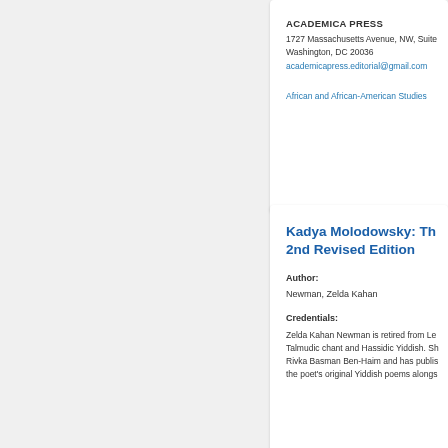ACADEMICA PRESS
1727 Massachusetts Avenue, NW, Suite
Washington, DC 20036
academicapress.editorial@gmail.com
African and African-American Studies
Kadya Molodowsky: Th... 2nd Revised Edition
Author:
Newman, Zelda Kahan
Credentials:
Zelda Kahan Newman is retired from Le... Talmudic chant and Hassidic Yiddish. Sh... Rivka Basman Ben-Haim and has publis... the poet's original Yiddish poems alongs...